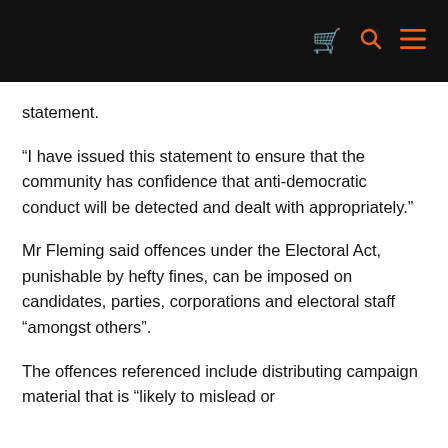[navigation icons: cart, search, menu]
statement.
“I have issued this statement to ensure that the community has confidence that anti-democratic conduct will be detected and dealt with appropriately.”
Mr Fleming said offences under the Electoral Act, punishable by hefty fines, can be imposed on candidates, parties, corporations and electoral staff “amongst others”.
The offences referenced include distributing campaign material that is “likely to mislead or